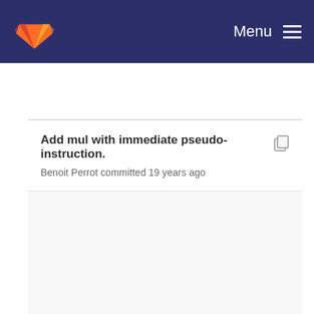Menu
Add mul with immediate pseudo-instruction.
Benoit Perrot committed 19 years ago